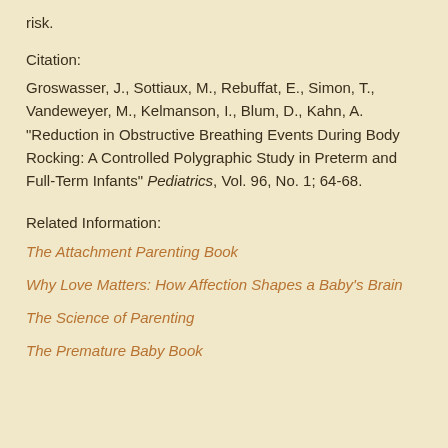risk.
Citation:
Groswasser, J., Sottiaux, M., Rebuffat, E., Simon, T., Vandeweyer, M., Kelmanson, I., Blum, D., Kahn, A. "Reduction in Obstructive Breathing Events During Body Rocking: A Controlled Polygraphic Study in Preterm and Full-Term Infants" Pediatrics, Vol. 96, No. 1; 64-68.
Related Information:
The Attachment Parenting Book
Why Love Matters: How Affection Shapes a Baby's Brain
The Science of Parenting
The Premature Baby Book